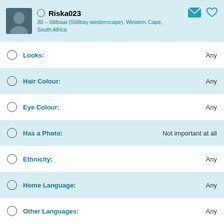Riska023 — 30 – Stilbaai (Stillbay westerncape), Western Cape, South Africa
Looks: Any
Hair Colour: Any
Eye Colour: Any
Has a Photo: Not important at all
Ethnicity: Any
Home Language: Any
Other Languages: Any
Religion: Any